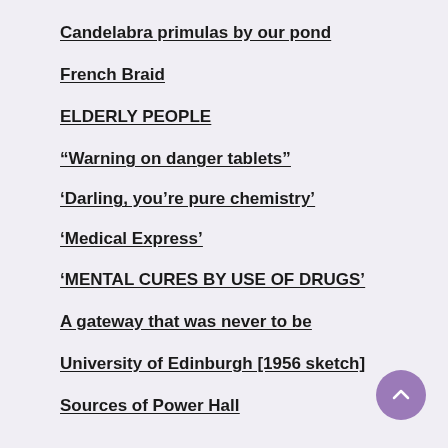Candelabra primulas by our pond
French Braid
ELDERLY PEOPLE
“Warning on danger tablets”
‘Darling, you’re pure chemistry’
‘Medical Express’
‘MENTAL CURES BY USE OF DRUGS’
A gateway that was never to be
University of Edinburgh [1956 sketch]
Sources of Power Hall